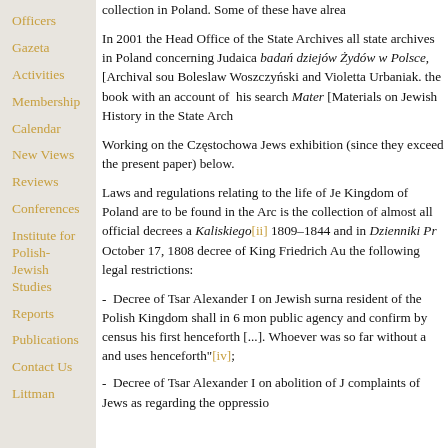Officers
Gazeta
Activities
Membership
Calendar
New Views
Reviews
Conferences
Institute for Polish-Jewish Studies
Reports
Publications
Contact Us
Littman
collection in Poland. Some of these have alrea
In 2001 the Head Office of the State Archives all state archives in Poland concerning Judaica badań dziejów Żydów w Polsce, [Archival sou Boleslaw Woszczyński and Violetta Urbaniak. the book with an account of his search Mater [Materials on Jewish History in the State Arch
Working on the Częstochowa Jews exhibition (since they exceed the present paper) below.
Laws and regulations relating to the life of Je Kingdom of Poland are to be found in the Arc is the collection of almost all official decrees a Kaliskiego[ii] 1809–1844 and in Dzienniki Pr October 17, 1808 decree of King Friedrich Au the following legal restrictions:
- Decree of Tsar Alexander I on Jewish surna resident of the Polish Kingdom shall in 6 mon public agency and confirm by census his first henceforth [...]. Whoever was so far without a and uses henceforth"[iv];
- Decree of Tsar Alexander I on abolition of J complaints of Jews as regarding the oppressio